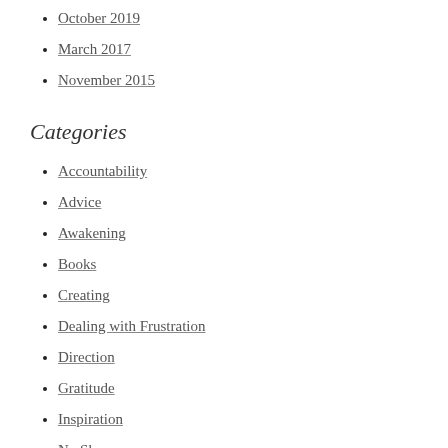October 2019
March 2017
November 2015
Categories
Accountability
Advice
Awakening
Books
Creating
Dealing with Frustration
Direction
Gratitude
Inspiration
No Shame